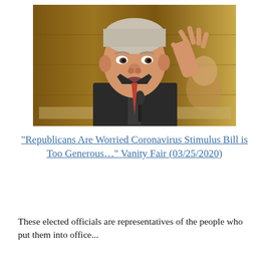[Figure (photo): Photo of a middle-aged white male senator with gray hair speaking at a hearing, gesturing with his right hand, against a wood-paneled background with a microphone and another person visible in the background.]
“Republicans Are Worried Coronavirus Stimulus Bill is Too Generous...” Vanity Fair (03/25/2020)
These elected officials are representatives of the people who put them into office...